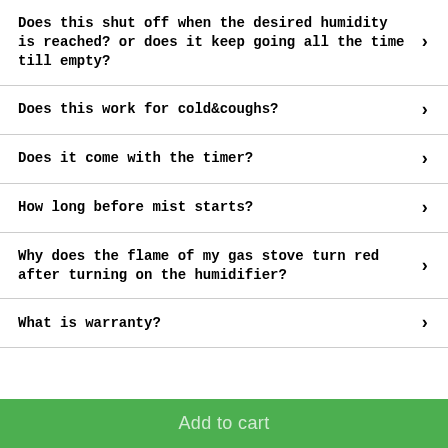Does this shut off when the desired humidity is reached? or does it keep going all the time till empty?
Does this work for cold&coughs?
Does it come with the timer?
How long before mist starts?
Why does the flame of my gas stove turn red after turning on the humidifier?
What is warranty?
Add to cart